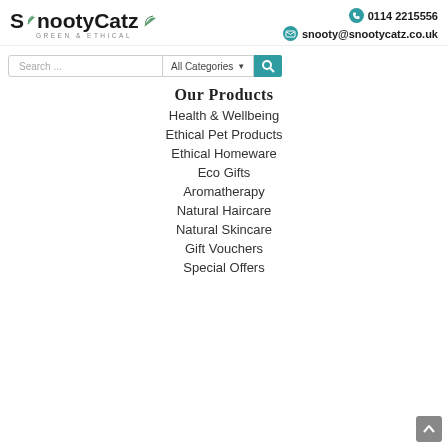[Figure (logo): SnootyCatz logo with leaf motif and 'GREEN & ETHICAL' tagline]
0114 2215556
snooty@snootycatz.co.uk
[Figure (other): Search bar with 'Search...' placeholder, 'All Categories' dropdown, and teal search button]
Our Products
Health & Wellbeing
Ethical Pet Products
Ethical Homeware
Eco Gifts
Aromatherapy
Natural Haircare
Natural Skincare
Gift Vouchers
Special Offers